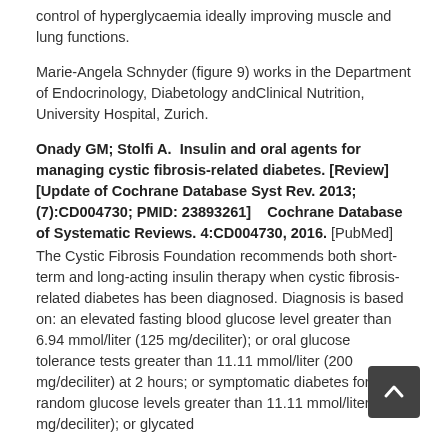control of hyperglycaemia ideally improving muscle and lung functions.
Marie-Angela Schnyder (figure 9) works in the Department of Endocrinology, Diabetology andClinical Nutrition, University Hospital, Zurich.
Onady GM; Stolfi A.  Insulin and oral agents for managing cystic fibrosis-related diabetes. [Review][Update of Cochrane Database Syst Rev. 2013;(7):CD004730; PMID: 23893261]    Cochrane Database of Systematic Reviews. 4:CD004730, 2016. [PubMed]
The Cystic Fibrosis Foundation recommends both short-term and long-acting insulin therapy when cystic fibrosis-related diabetes has been diagnosed. Diagnosis is based on: an elevated fasting blood glucose level greater than 6.94 mmol/liter (125 mg/deciliter); or oral glucose tolerance tests greater than 11.11 mmol/liter (200 mg/deciliter) at 2 hours; or symptomatic diabetes for random glucose levels greater than 11.11 mmol/liter (200 mg/deciliter); or glycated